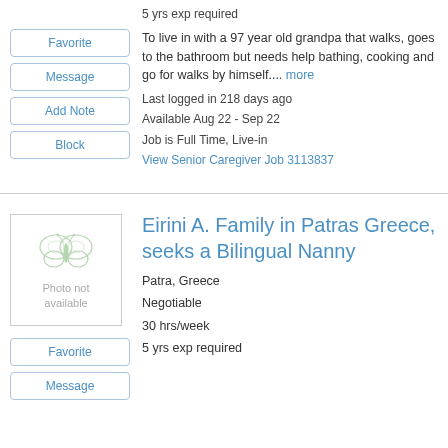5 yrs exp required
To live in with a 97 year old grandpa that walks, goes to the bathroom but needs help bathing, cooking and go for walks by himself.... more
Last logged in 218 days ago
Available Aug 22 - Sep 22
Job is Full Time, Live-in
View Senior Caregiver Job 3113837
Eirini A. Family in Patras Greece, seeks a Bilingual Nanny
Patra, Greece
Negotiable
30 hrs/week
5 yrs exp required